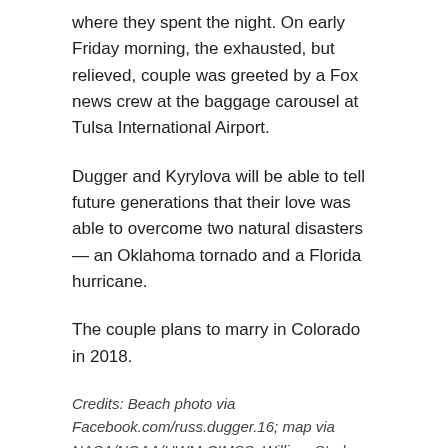where they spent the night. On early Friday morning, the exhausted, but relieved, couple was greeted by a Fox news crew at the baggage carousel at Tulsa International Airport.
Dugger and Kyrylova will be able to tell future generations that their love was able to overcome two natural disasters — an Oklahoma tornado and a Florida hurricane.
The couple plans to marry in Colorado in 2018.
Credits: Beach photo via Facebook.com/russ.dugger.16; map via NASA/NOAA/UWM-CIMSS, William Straka; Airport screen capture via FOX23.com.